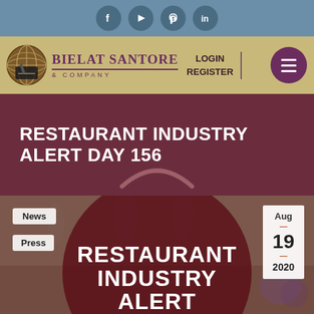Social media icons: Facebook, YouTube, Pinterest, LinkedIn
[Figure (logo): Bielat Santore & Company logo with globe icon, LOGIN and REGISTER links, and hamburger menu button]
RESTAURANT INDUSTRY ALERT DAY 156
[Figure (photo): Article card image showing restaurant setting with wine glasses and dining scene. Tags: News, Press. Date: Aug 19 2020. Overlay text: RESTAURANT INDUSTRY ALERT]